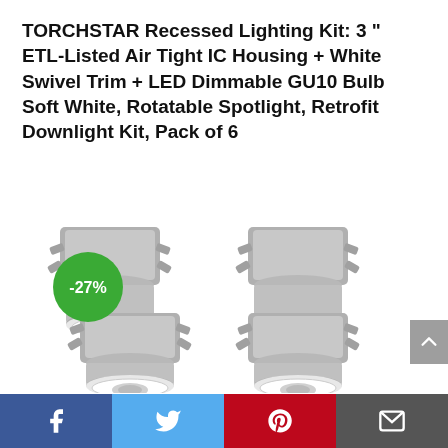TORCHSTAR Recessed Lighting Kit: 3 " ETL-Listed Air Tight IC Housing + White Swivel Trim + LED Dimmable GU10 Bulb Soft White, Rotatable Spotlight, Retrofit Downlight Kit, Pack of 6
[Figure (photo): Four recessed lighting kits shown in a 2x2 grid. Each kit shows a silver metal housing with clips/brackets on top and a white circular swivel trim at the bottom with an LED bulb. A green circular badge shows -27% discount in the upper-left area over the first light.]
Facebook | Twitter | Pinterest | Email